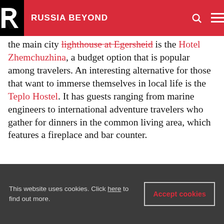RUSSIA BEYOND
the main city lighthouse at Egersheid is the Hotel Zhemchuzhina, a budget option that is popular among travelers. An interesting alternative for those that want to immerse themselves in local life is the Teplo Hostel. It has guests ranging from marine engineers to international adventure travelers who gather for dinners in the common living area, which features a fireplace and bar counter.
[Figure (photo): Blue sky and water photo, partially visible at bottom of page]
This website uses cookies. Click here to find out more.
Accept cookies